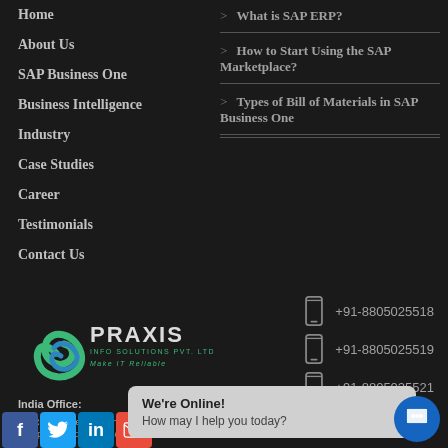Home
About Us
SAP Business One
Business Intelligence
Industry
Case Studies
Career
Testimonials
Contact Us
What is SAP ERP?
How to Start Using the SAP Marketplace?
Types of Bill of Materials in SAP Business One
[Figure (logo): Praxis Info Solutions Pvt. Ltd. logo with green spiral and blue/teal text]
+91-8805025518
+91-8805025519
+91-8805025521
India Office:
10, Rajaram Behind Maharaje Complex, Paud Road, Kothrud,
We're Online! How may I help you today?